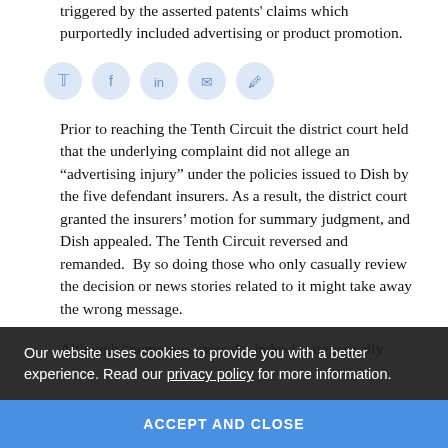triggered by the asserted patents' claims which purportedly included advertising or product promotion.
Prior to reaching the Tenth Circuit the district court held that the underlying complaint did not allege an "advertising injury" under the policies issued to Dish by the five defendant insurers. As a result, the district court granted the insurers' motion for summary judgment, and Dish appealed. The Tenth Circuit reversed and remanded.  By so doing those who only casually review the decision or news stories related to it might take away the wrong message.
Although "numerous cases do, indeed, categorically rule out advertising injury coverage for patent infringement claims, only the advertising activity itself is at stake, it...
14. The court noted that allegations of patent
Our website uses cookies to provide you with a better experience. Read our privacy policy for more information.
ACCEPT AND CLOSE